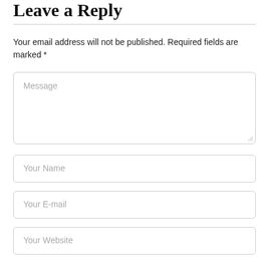Leave a Reply
Your email address will not be published. Required fields are marked *
[Figure (screenshot): Message textarea input field with placeholder text 'Message' and resize handle]
[Figure (screenshot): Your Name text input field]
[Figure (screenshot): Your E-mail text input field]
[Figure (screenshot): Your Website text input field]
Save my name, email, and website in this browser for the next time I comment.
[Figure (screenshot): Dark grey scroll-to-top button with arrow icon]
[Figure (screenshot): Dark pink/maroon submit/post comment button]